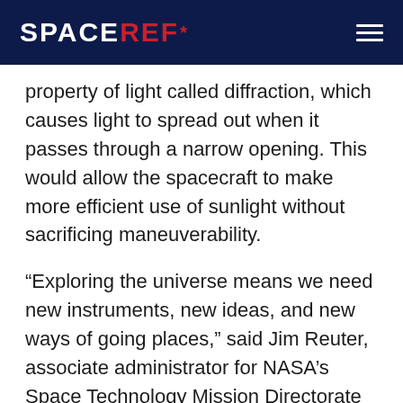SPACEREF*
property of light called diffraction, which causes light to spread out when it passes through a narrow opening. This would allow the spacecraft to make more efficient use of sunlight without sacrificing maneuverability.
“Exploring the universe means we need new instruments, new ideas, and new ways of going places,” said Jim Reuter, associate administrator for NASA’s Space Technology Mission Directorate (STMD) at NASA Headquarters in Washington. “Our goal is to invest in those technologies throughout their